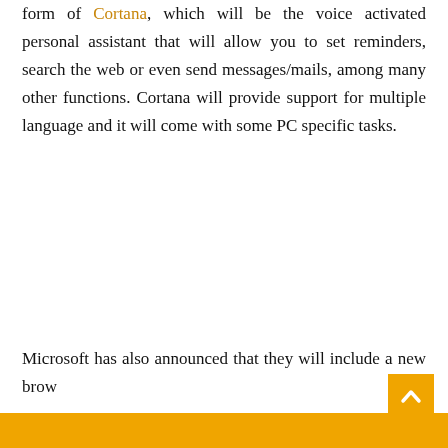form of Cortana, which will be the voice activated personal assistant that will allow you to set reminders, search the web or even send messages/mails, among many other functions. Cortana will provide support for multiple language and it will come with some PC specific tasks.
Microsoft has also announced that they will include a new brow...